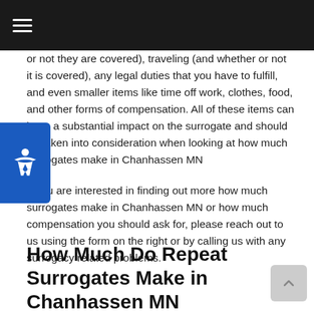☰
or not they are covered), traveling (and whether or not it is covered), any legal duties that you have to fulfill, and even smaller items like time off work, clothes, food, and other forms of compensation. All of these items can have a substantial impact on the surrogate and should be taken into consideration when looking at how much surrogates make in Chanhassen MN
If you are interested in finding out more how much surrogates make in Chanhassen MN or how much compensation you should ask for, please reach out to us using the form on the right or by calling us with any surrogacy related problems.
How Much Do Repeat Surrogates Make in Chanhassen MN